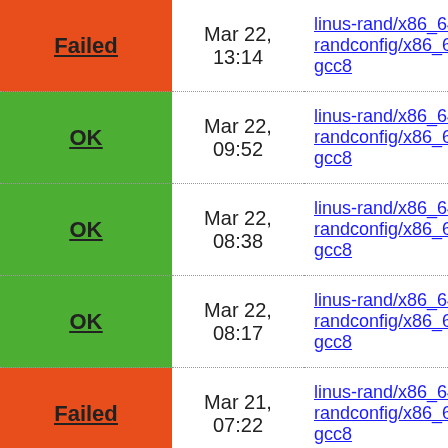| Status | Date | Config |
| --- | --- | --- |
| Failed | Mar 22, 13:14 | linus-rand/x86_64 randconfig/x86_6 gcc8 |
| OK | Mar 22, 09:52 | linus-rand/x86_64 randconfig/x86_6 gcc8 |
| OK | Mar 22, 08:38 | linus-rand/x86_64 randconfig/x86_6 gcc8 |
| OK | Mar 22, 08:17 | linus-rand/x86_64 randconfig/x86_6 gcc8 |
| Failed | Mar 21, 07:22 | linus-rand/x86_64 randconfig/x86_6 gcc8 |
| Failed | Mar 21, 05:58 | linus-rand/x86_64 randconfig/x86_6 gcc8 |
| Failed | Mar 20, 12:45 | linus-rand/x86_64 randconfig/x86_6 gcc8 |